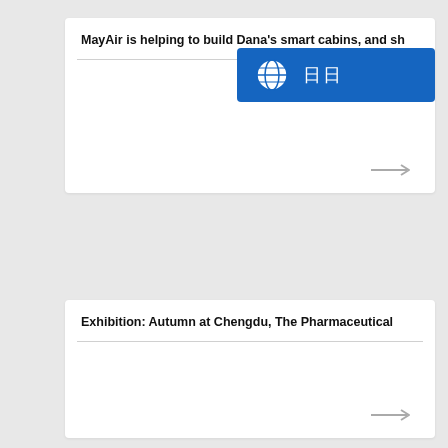MayAir is helping to build Dana's smart cabins, and sh
[Figure (other): Blue badge/button with globe icon and Chinese characters (日日)]
Exhibition: Autumn at Chengdu, The Pharmaceutical